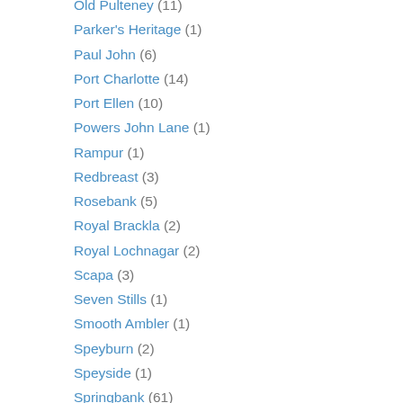Old Pulteney (11)
Parker's Heritage (1)
Paul John (6)
Port Charlotte (14)
Port Ellen (10)
Powers John Lane (1)
Rampur (1)
Redbreast (3)
Rosebank (5)
Royal Brackla (2)
Royal Lochnagar (2)
Scapa (3)
Seven Stills (1)
Smooth Ambler (1)
Speyburn (2)
Speyside (1)
Springbank (61)
St. Magdalene (4)
Strathisla (4)
Strathmill (1)